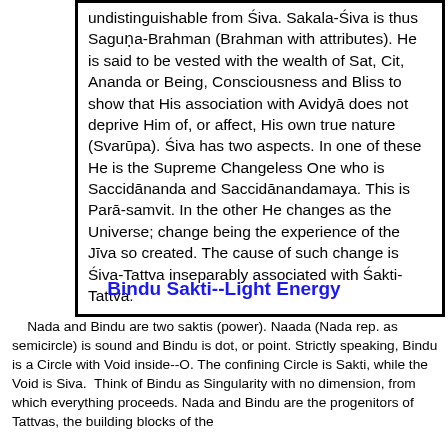undistinguishable from Śiva. Sakala-Śiva is thus Saguṇa-Brahman (Brahman with attributes). He is said to be vested with the wealth of Sat, Cit, Ananda or Being, Consciousness and Bliss to show that His association with Avidyā does not deprive Him of, or affect, His own true nature (Svarūpa). Śiva has two aspects. In one of these He is the Supreme Changeless One who is Saccidānanda and Saccidānandamaya. This is Parā-samvit. In the other He changes as the Universe; change being the experience of the Jīva so created. The cause of such change is Śiva-Tattva inseparably associated with Śakti-Tattva.
Bindu Sakti--Light Energy
Nada and Bindu are two saktis (power). Naada (Nada rep. as semicircle) is sound and Bindu is dot, or point. Strictly speaking, Bindu is a Circle with Void inside--O. The confining Circle is Sakti, while the Void is Siva.  Think of Bindu as Singularity with no dimension, from which everything proceeds. Nada and Bindu are the progenitors of Tattvas, the building blocks of the